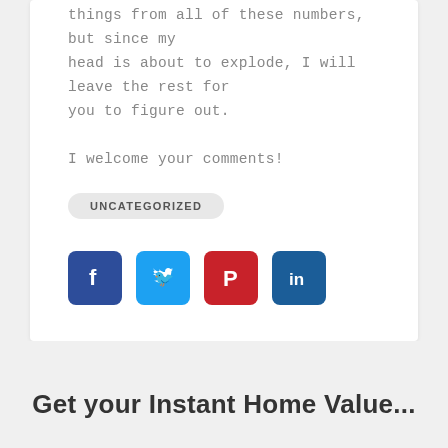things from all of these numbers, but since my head is about to explode, I will leave the rest for you to figure out.

I welcome your comments!
UNCATEGORIZED
[Figure (infographic): Four social media icons in a row: Facebook (blue), Twitter (light blue), Pinterest (red), LinkedIn (dark blue)]
Get your Instant Home Value...
[Figure (other): Partially visible dark blue call-to-action button at bottom of page]